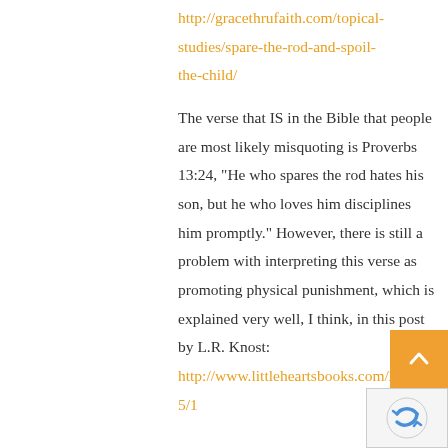http://gracethrufaith.com/topical-studies/spare-the-rod-and-spoil-the-child/
The verse that IS in the Bible that people are most likely misquoting is Proverbs 13:24, "He who spares the rod hates his son, but he who loves him disciplines him promptly." However, there is still a problem with interpreting this verse as promoting physical punishment, which is explained very well, I think, in this post by L.R. Knost:
http://www.littleheartsbooks.com/2014/05/1